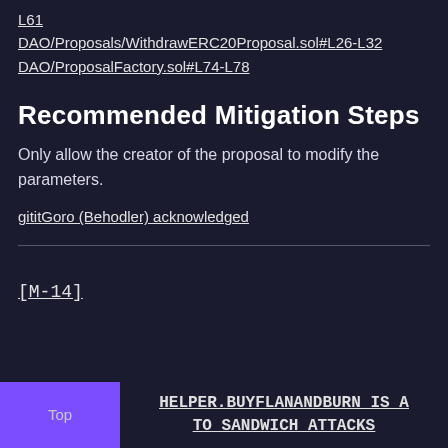L61
DAO/Proposals/WithdrawERC20Proposal.sol#L26-L32
DAO/ProposalFactory.sol#L74-L78
Recommended Mitigation Steps
Only allow the creator of the proposal to modify the parameters.
gititGoro (Behodler) acknowledged
[M-14]
HELPER.BUYFLANANDBURN IS A TO SANDWICH ATTACKS